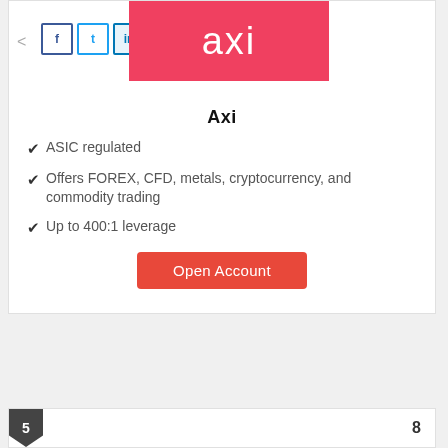[Figure (logo): Axi broker logo — white text 'axi' on red/coral background, with social share icons (Facebook, Twitter, LinkedIn) to the left]
Axi
ASIC regulated
Offers FOREX, CFD, metals, cryptocurrency, and commodity trading
Up to 400:1 leverage
Open Account
5   8